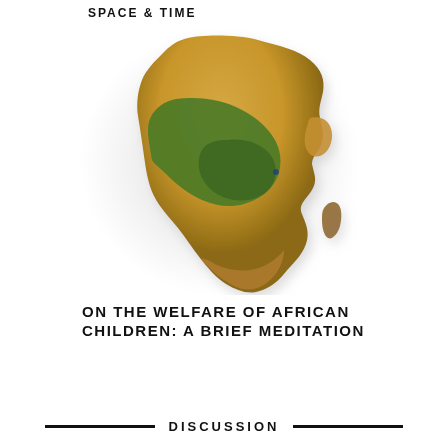SPACE & TIME
[Figure (map): 3D relief map of the African continent, showing topographic elevation with golden/tan desert colors in the north, green vegetation in central and east Africa, and orange-brown tones in southern Africa. The map has a white background and slight shadow giving a 3D raised appearance.]
ON THE WELFARE OF AFRICAN CHILDREN: A BRIEF MEDITATION
DISCUSSION